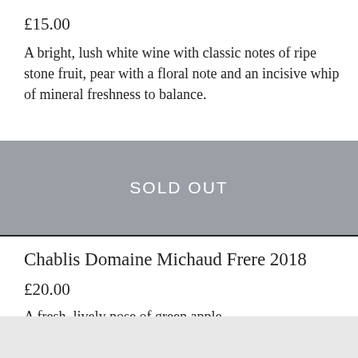£15.00
A bright, lush white wine with classic notes of ripe stone fruit, pear with a floral note and an incisive whip of mineral freshness to balance.
SOLD OUT
Chablis Domaine Michaud Frere 2018
£20.00
A fresh, lively nose of green apple